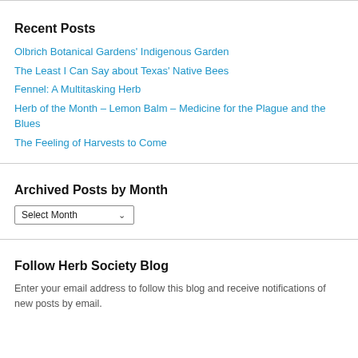Recent Posts
Olbrich Botanical Gardens' Indigenous Garden
The Least I Can Say about Texas' Native Bees
Fennel: A Multitasking Herb
Herb of the Month – Lemon Balm – Medicine for the Plague and the Blues
The Feeling of Harvests to Come
Archived Posts by Month
Select Month
Follow Herb Society Blog
Enter your email address to follow this blog and receive notifications of new posts by email.